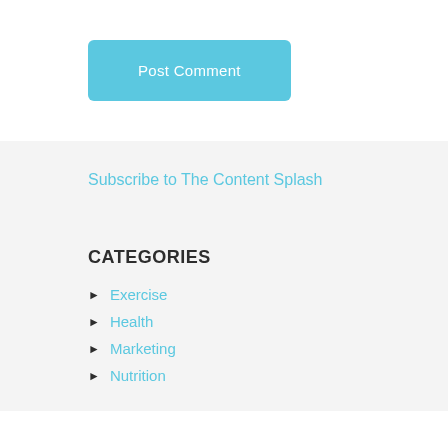[Figure (other): Post Comment button — a rounded light-blue rectangle with white text]
Subscribe to The Content Splash
CATEGORIES
Exercise
Health
Marketing
Nutrition